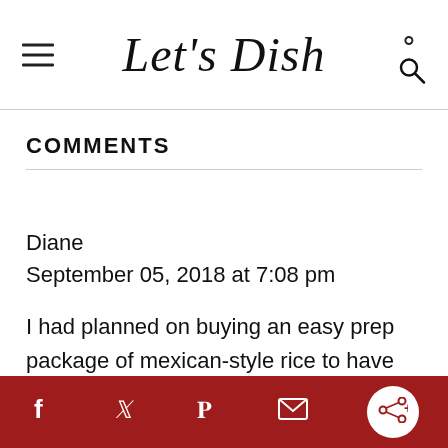Let's Dish
COMMENTS
Diane
September 05, 2018 at 7:08 pm
I had planned on buying an easy prep package of mexican-style rice to have as a side this evening but I forgot. I went